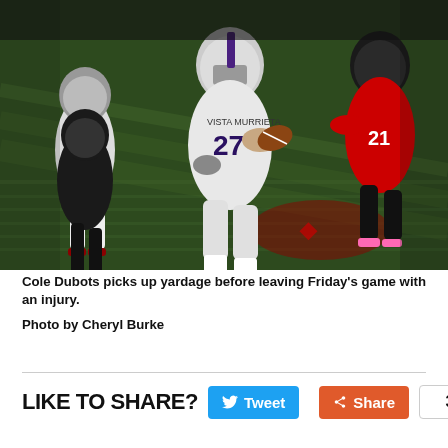[Figure (photo): Football player wearing Vista Murrieta jersey number 27 (Cole Dubots) carrying a football and running on a green field, surrounded by opposing players in red and black uniforms at a night game.]
Cole Dubots picks up yardage before leaving Friday's game with an injury.
Photo by Cheryl Burke
LIKE TO SHARE? Tweet Share 3